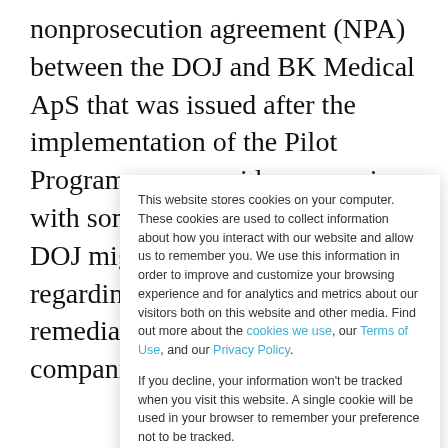nonprosecution agreement (NPA) between the DOJ and BK Medical ApS that was issued after the implementation of the Pilot Program may provide companies with some insight into what the DOJ might be looking for regarding compliance plans and remediation. Additionally, for companies
This website stores cookies on your computer. These cookies are used to collect information about how you interact with our website and allow us to remember you. We use this information in order to improve and customize your browsing experience and for analytics and metrics about our visitors both on this website and other media. Find out more about the cookies we use, our Terms of Use, and our Privacy Policy.
If you decline, your information won't be tracked when you visit this website. A single cookie will be used in your browser to remember your preference not to be tracked.